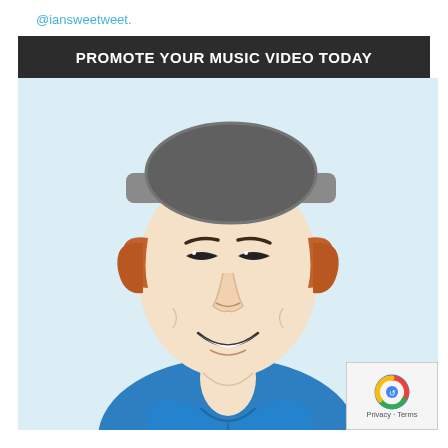@iansweetweet.
PROMOTE YOUR MUSIC VIDEO TODAY
[Figure (illustration): Cartoon illustration of a smiling man wearing a grey flat cap and a blue shirt, with auburn hair visible at the sides, on a light blue background. A reCAPTCHA badge appears in the bottom-right corner with 'Privacy - Terms' text.]